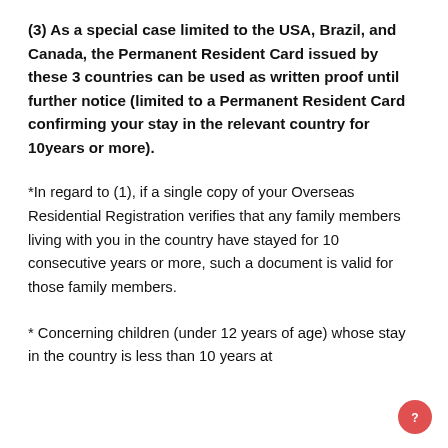(3) As a special case limited to the USA, Brazil, and Canada, the Permanent Resident Card issued by these 3 countries can be used as written proof until further notice (limited to a Permanent Resident Card confirming your stay in the relevant country for 10years or more).
*In regard to (1), if a single copy of your Overseas Residential Registration verifies that any family members living with you in the country have stayed for 10 consecutive years or more, such a document is valid for those family members.
* Concerning children (under 12 years of age) whose stay in the country is less than 10 years at